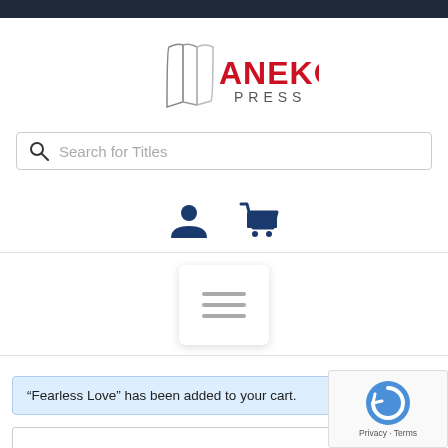[Figure (logo): Aneko Press logo with stylized book pages icon and red/black text]
[Figure (screenshot): Search bar with magnifying glass icon and placeholder text 'Search for Titles']
[Figure (infographic): User account icon and shopping cart icon in dark blue]
[Figure (infographic): Hamburger/menu card icon with three horizontal lines]
“Fearless Love” has been added to your cart.
Vie... (View cart link)